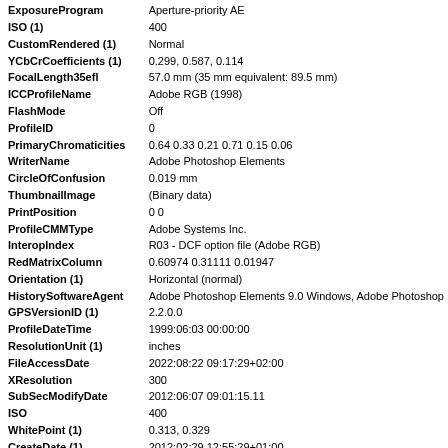| Field | Value |
| --- | --- |
| ExposureProgram | Aperture-priority AE |
| ISO (1) | 400 |
| CustomRendered (1) | Normal |
| YCbCrCoefficients (1) | 0.299, 0.587, 0.114 |
| FocalLength35efl | 57.0 mm (35 mm equivalent: 89.5 mm) |
| ICCProfileName | Adobe RGB (1998) |
| FlashMode | Off |
| ProfileID | 0 |
| PrimaryChromaticities | 0.64 0.33 0.21 0.71 0.15 0.06 |
| WriterName | Adobe Photoshop Elements |
| CircleOfConfusion | 0.019 mm |
| ThumbnailImage | (Binary data) |
| PrintPosition | 0 0 |
| ProfileCMMType | Adobe Systems Inc. |
| InteropIndex | R03 - DCF option file (Adobe RGB) |
| RedMatrixColumn | 0.60974 0.31111 0.01947 |
| Orientation (1) | Horizontal (normal) |
| HistorySoftwareAgent | Adobe Photoshop Elements 9.0 Windows, Adobe Photoshop |
| GPSVersionID (1) | 2.2.0.0 |
| ProfileDateTime | 1999:06:03 00:00:00 |
| ResolutionUnit (1) | inches |
| FileAccessDate | 2022:08:22 09:17:29+02:00 |
| XResolution | 300 |
| SubSecModifyDate | 2012:06:07 09:01:15.11 |
| ISO | 400 |
| WhitePoint (1) | 0.313, 0.329 |
| CreateDate (1) | 2012:02:29 12:55:29+01:00 |
| Aperture | 2.8 |
| FlashReturn | No return detection |
| XResolution (3) | 300 |
| FileInodeChangeDate | 2020:03:25 02:46:01+01:00 |
| HasRealMergedData | Yes |
| XResolution (1) | 0 |
| GreenTRC | (Binary data) |
| PrintScale | 1 |
| InstanceID | xmp.iid:E77403C7EBAEE111B85E8AE756920126 |
| FlashFired | False |
| GlobalAngle | 30 |